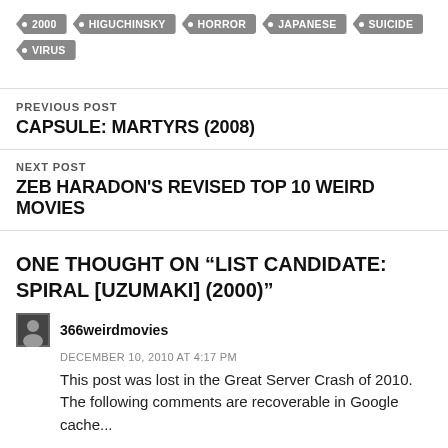2000
HIGUCHINSKY
HORROR
JAPANESE
SUICIDE
VIRUS
PREVIOUS POST
CAPSULE: MARTYRS (2008)
NEXT POST
ZEB HARADON'S REVISED TOP 10 WEIRD MOVIES
ONE THOUGHT ON “LIST CANDIDATE: SPIRAL [UZUMAKI] (2000)”
366weirdmovies
DECEMBER 10, 2010 AT 4:17 PM
This post was lost in the Great Server Crash of 2010. The following comments are recoverable in Google cache...